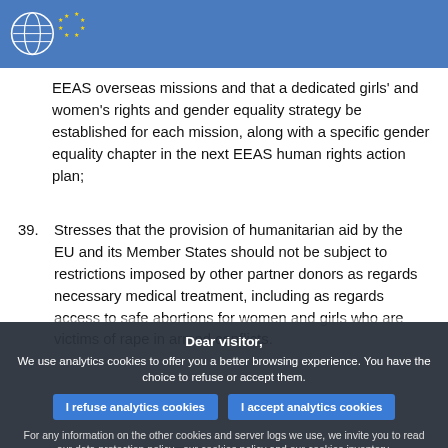European Parliament
EEAS overseas missions and that a dedicated girls' and women's rights and gender equality strategy be established for each mission, along with a specific gender equality chapter in the next EEAS human rights action plan;
39. Stresses that the provision of humanitarian aid by the EU and its Member States should not be subject to restrictions imposed by other partner donors as regards necessary medical treatment, including as regards access to safe abortions for women and girls who are victims of rape in armed conflicts.
Dear visitor,
We use analytics cookies to offer you a better browsing experience. You have the choice to refuse or accept them.
I refuse analytics cookies  I accept analytics cookies
For any information on the other cookies and server logs we use, we invite you to read our data protection policy , our cookies policy and our cookies inventory.